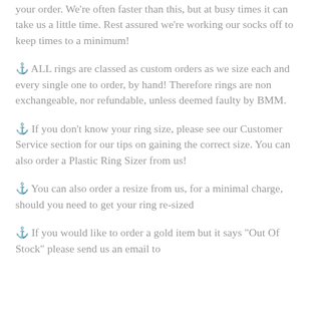your order. We're often faster than this, but at busy times it can take us a little time. Rest assured we're working our socks off to keep times to a minimum!
⚓ ALL rings are classed as custom orders as we size each and every single one to order, by hand! Therefore rings are non exchangeable, nor refundable, unless deemed faulty by BMM.
⚓ If you don't know your ring size, please see our Customer Service section for our tips on gaining the correct size. You can also order a Plastic Ring Sizer from us!
⚓ You can also order a resize from us, for a minimal charge, should you need to get your ring re-sized
⚓ If you would like to order a gold item but it says "Out Of Stock" please send us an email to